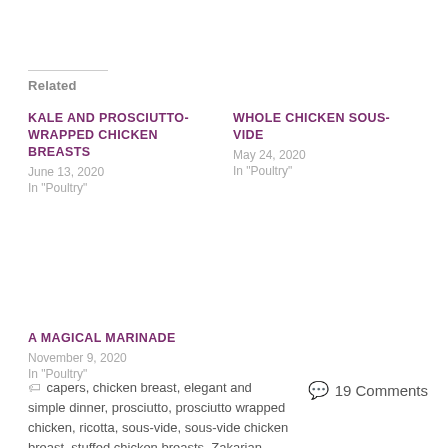Related
KALE AND PROSCIUTTO-WRAPPED CHICKEN BREASTS
June 13, 2020
In "Poultry"
WHOLE CHICKEN SOUS-VIDE
May 24, 2020
In "Poultry"
A MAGICAL MARINADE
November 9, 2020
In "Poultry"
capers, chicken breast, elegant and simple dinner, prosciutto, prosciutto wrapped chicken, ricotta, sous-vide, sous-vide chicken breast, stuffed chicken breasts, Zakarian
19 Comments